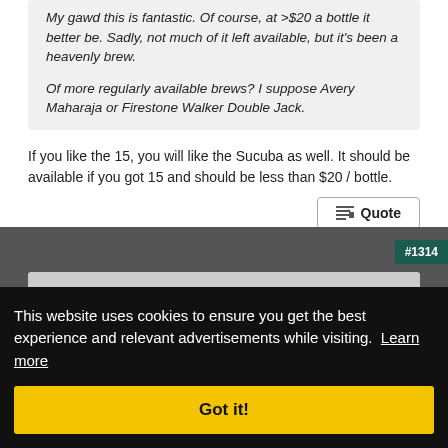My gawd this is fantastic. Of course, at >$20 a bottle it better be. Sadly, not much of it left available, but it's been a heavenly brew.

Of more regularly available brews? I suppose Avery Maharaja or Firestone Walker Double Jack.
If you like the 15, you will like the Sucuba as well. It should be available if you got 15 and should be less than $20 / bottle.
Quote
#1314
This website uses cookies to ensure you get the best experience and relevant advertisements while visiting. Learn more
Got it!